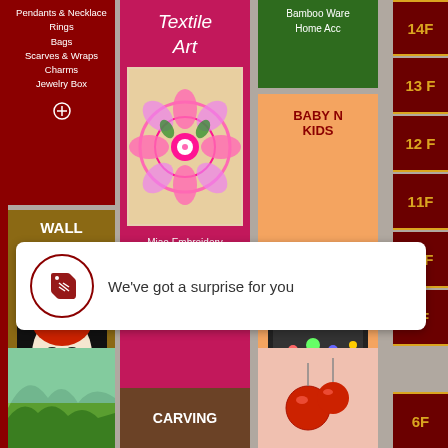[Figure (screenshot): Shopping mall directory screenshot showing multiple floor sections including Jewelry (Pendants & Necklace, Rings, Bags, Scarves & Wraps, Charms, Jewelry Box), Wall Mask (Opera Masks, Ritual Masks, Festive Masks), Textile Art (Miao Embroidery, Su Embroidery), Ornaments & Costume, Baby/Kids section (Baby Carrier, Baby Shoes, Baby Hats, Boys Clothing, Girls Clothing, Children Shoes), Bamboo Ware/Home Accessories, and floor numbers 14F through 6F on the right side.]
We've got a surprise for you